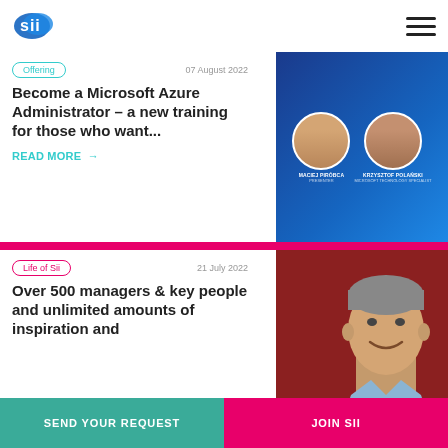SII logo and hamburger menu
Offering   07 August 2022
Become a Microsoft Azure Administrator – a new training for those who want...
READ MORE →
[Figure (photo): Two circular portraits of people on a blue background with names MACIEJ PIRÓBCA (PRESENTER) and KRZYSZTOF POLAŃSKI (MICROSOFT TECHNOLOGY SPECIALIST)]
Life of Sii   21 July 2022
Over 500 managers & key people and unlimited amounts of inspiration and
[Figure (photo): Photo of a smiling middle-aged man with short hair against a dark red background]
We use cookies to ensure that we give you the best experience on our website. Click here to read more or accept and close.
SEND YOUR REQUEST
JOIN SII